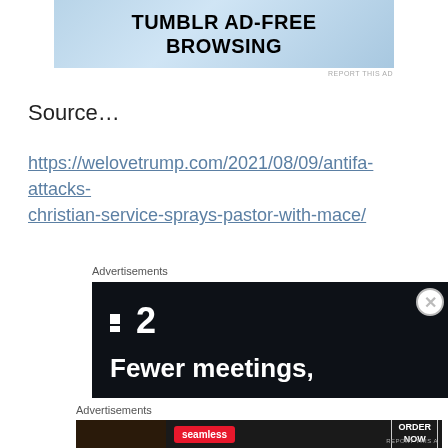[Figure (screenshot): Tumblr ad banner with light blue gradient background reading TUMBLR AD-FREE BROWSING in bold black text]
REPORT THIS AD
Source…
https://welovetrump.com/2021/08/09/antifa-attacks-christian-service-sprays-pastor-with-mace/
Advertisements
[Figure (screenshot): Dark ad for an app showing logo ':2' and text 'Fewer meetings,']
Advertisements
[Figure (screenshot): Seamless food delivery ad with pizza image, seamless red badge, and ORDER NOW button]